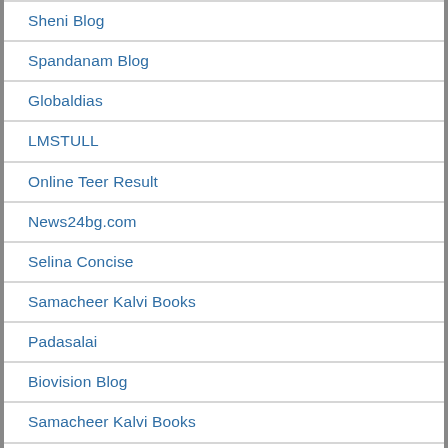Sheni Blog
Spandanam Blog
Globaldias
LMSTULL
Online Teer Result
News24bg.com
Selina Concise
Samacheer Kalvi Books
Padasalai
Biovision Blog
Samacheer Kalvi Books
Padasalai
Selina Concise
Applying for loan
Cinnamon for Diabetes